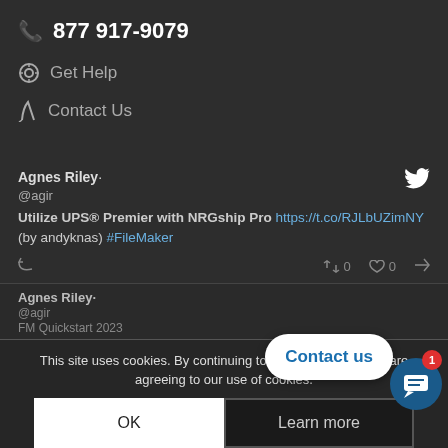📞 877 917-9079
⊙ Get Help
✒ Contact Us
Agnes Riley · @agir
Utilize UPS® Premier with NRGship Pro https://t.co/RJLbUZimNY (by andyknas) #FileMaker
↩ 0  ♡ 0  ↗
This site uses cookies. By continuing to browse the site, you are agreeing to our use of cookies.
Agnes Riley· @agir FM Quickstart 2023
OK  Learn more
Contact us